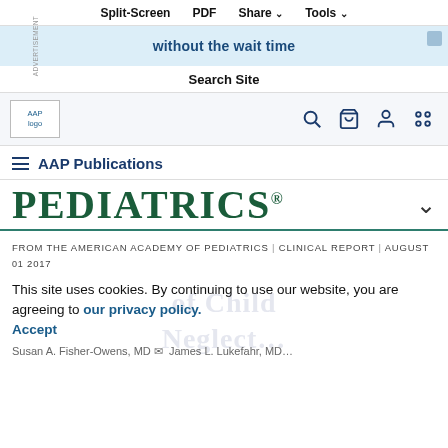Split-Screen  PDF  Share  Tools
[Figure (screenshot): AAP website ad banner with text 'without the wait time']
Search Site
[Figure (logo): AAP logo placeholder image]
AAP Publications
PEDIATRICS®
FROM THE AMERICAN ACADEMY OF PEDIATRICS | CLINICAL REPORT | AUGUST 01 2017
This site uses cookies. By continuing to use our website, you are agreeing to our privacy policy. Accept
Susan A. Fisher-Owens, MD  James L. Lukefahr, MD